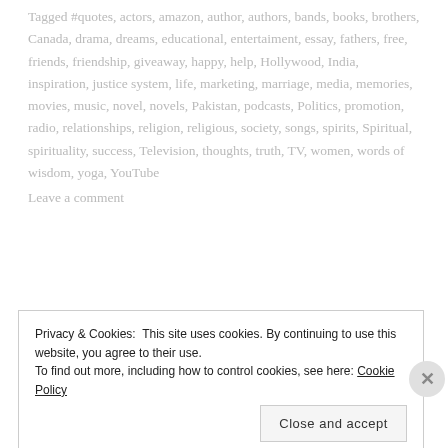Tagged #quotes, actors, amazon, author, authors, bands, books, brothers, Canada, drama, dreams, educational, entertaiment, essay, fathers, free, friends, friendship, giveaway, happy, help, Hollywood, India, inspiration, justice system, life, marketing, marriage, media, memories, movies, music, novel, novels, Pakistan, podcasts, Politics, promotion, radio, relationships, religion, religious, society, songs, spirits, Spiritual, spirituality, success, Television, thoughts, truth, TV, women, words of wisdom, yoga, YouTube
Leave a comment
Privacy & Cookies: This site uses cookies. By continuing to use this website, you agree to their use. To find out more, including how to control cookies, see here: Cookie Policy
Close and accept